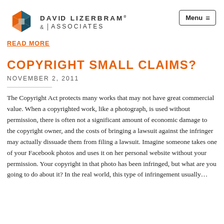[Figure (logo): David Lizerbram & Associates hexagon logo with orange, teal, and gray segments]
DAVID LIZERBRAM® & ASSOCIATES
READ MORE
Menu
COPYRIGHT SMALL CLAIMS?
NOVEMBER 2, 2011
The Copyright Act protects many works that may not have great commercial value. When a copyrighted work, like a photograph, is used without permission, there is often not a significant amount of economic damage to the copyright owner, and the costs of bringing a lawsuit against the infringer may actually dissuade them from filing a lawsuit. Imagine someone takes one of your Facebook photos and uses it on her personal website without your permission. Your copyright in that photo has been infringed, but what are you going to do about it? In the real world, this type of infringement usually…